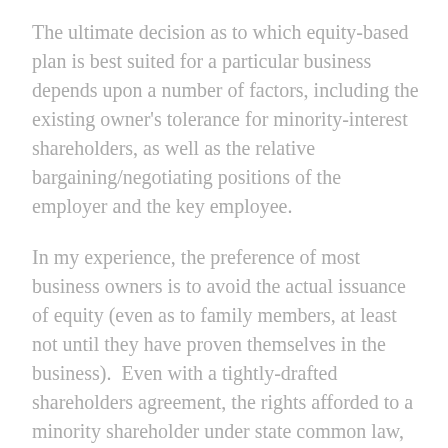The ultimate decision as to which equity-based plan is best suited for a particular business depends upon a number of factors, including the existing owner's tolerance for minority-interest shareholders, as well as the relative bargaining/negotiating positions of the employer and the key employee.
In my experience, the preference of most business owners is to avoid the actual issuance of equity (even as to family members, at least not until they have proven themselves in the business).  Even with a tightly-drafted shareholders agreement, the rights afforded to a minority shareholder under state common law, and the potential for litigation – especially with an employee with whom there is no familial relationship –  can make issuing equity a